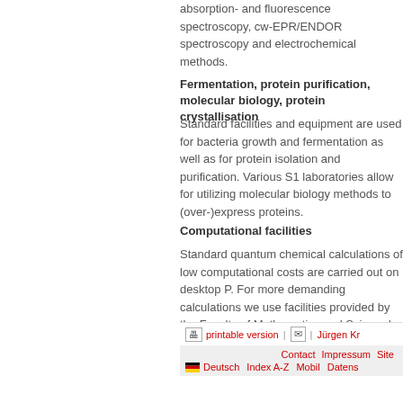absorption- and fluorescence spectroscopy, cw-EPR/ENDOR spectroscopy and electrochemical methods.
Fermentation, protein purification, molecular biology, protein crystallisation
Standard facilities and equipment are used for bacteria growth and fermentation as well as for protein isolation and purification. Various S1 laboratories allow for utilizing molecular biology methods to (over-)express proteins.
Computational facilities
Standard quantum chemical calculations of low computational costs are carried out on desktop P. For more demanding calculations we use facilities provided by the Faculty of Mathematics and Scie and the Konrad-Zuse-Zentrum in Berlin.
Last Update:  21.0
printable version | Jürgen Kr | Contact | Impressum | Site | Deutsch | Index A-Z | Mobil | Datens